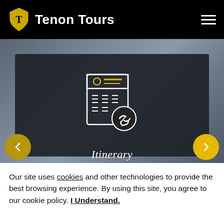Tenon Tours
[Figure (illustration): Itinerary icon — a document/list icon with a circular link/chain badge in the bottom right, rendered in white and gold lines on dark background]
Itinerary
Our site uses cookies and other technologies to provide the best browsing experience. By using this site, you agree to our cookie policy. I Understand.